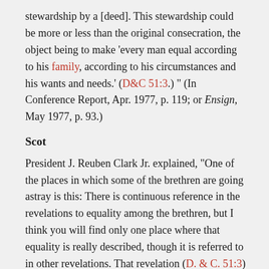stewardship by a [deed]. This stewardship could be more or less than the original consecration, the object being to make 'every man equal according to his family, according to his circumstances and his wants and needs.' (D&C 51:3.) " (In Conference Report, Apr. 1977, p. 119; or Ensign, May 1977, p. 93.)
Scot
President J. Reuben Clark Jr. explained, “One of the places in which some of the brethren are going astray is this: There is continuous reference in the revelations to equality among the brethren, but I think you will find only one place where that equality is really described, though it is referred to in other revelations. That revelation (D. & C. 51:3) affirms that every man is to be ‘equal according to